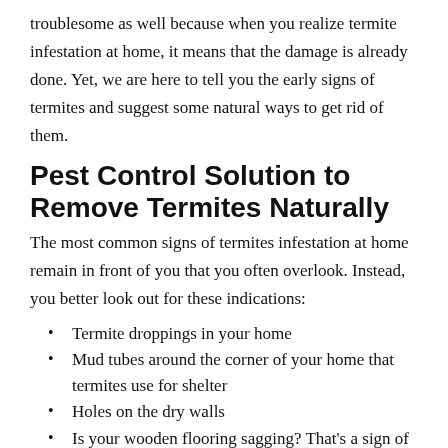troublesome as well because when you realize termite infestation at home, it means that the damage is already done. Yet, we are here to tell you the early signs of termites and suggest some natural ways to get rid of them.
Pest Control Solution to Remove Termites Naturally
The most common signs of termites infestation at home remain in front of you that you often overlook. Instead, you better look out for these indications:
Termite droppings in your home
Mud tubes around the corner of your home that termites use for shelter
Holes on the dry walls
Is your wooden flooring sagging? That's a sign of termites infestation at home
Maze-like patterns on your wooden belongings
Doors and windows get stuck